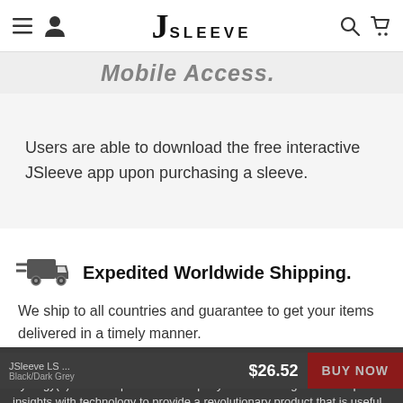JSleeve — navigation bar with hamburger menu, user icon, logo, search and cart icons
Mobile Access. (partial, cut off)
Users are able to download the free interactive JSleeve app upon purchasing a sleeve.
Expedited Worldwide Shipping.
We ship to all countries and guarantee to get your items delivered in a timely manner.
About Us
Synergy(7)Svn is a sports tech company that has merged our unique insights with technology to provide a revolutionary product that is useful for any athlete at
JSleeve LS ... $26.52 BUY NOW | Black/Dark Grey